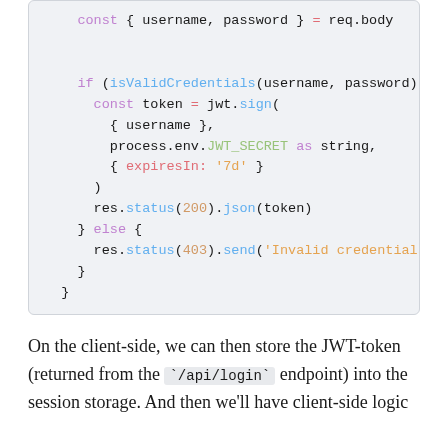[Figure (screenshot): Code block showing TypeScript/JavaScript code for a login endpoint using JWT. Shows const destructuring of username/password from req.body, a conditional check with isValidCredentials, JWT token signing with 7d expiry, res.status(200).json(token) on success, and res.status(403).send('Invalid credentials') on failure.]
On the client-side, we can then store the JWT-token (returned from the `/api/login` endpoint) into the session storage. And then we'll have client-side logic